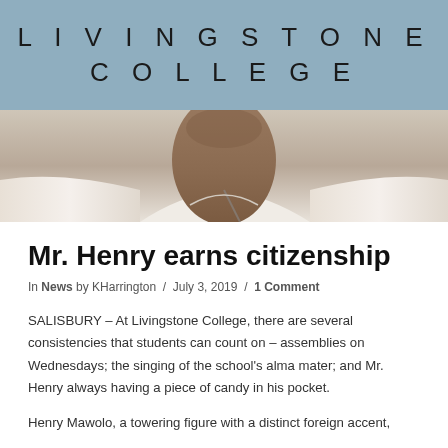LIVINGSTONE COLLEGE
[Figure (photo): Close-up photo of a person's neck and collar area wearing a white shirt with a lanyard, cropped to show chin and upper chest only]
Mr. Henry earns citizenship
In News by KHarrington / July 3, 2019 / 1 Comment
SALISBURY – At Livingstone College, there are several consistencies that students can count on – assemblies on Wednesdays; the singing of the school's alma mater; and Mr. Henry always having a piece of candy in his pocket.
Henry Mawolo, a towering figure with a distinct foreign accent,